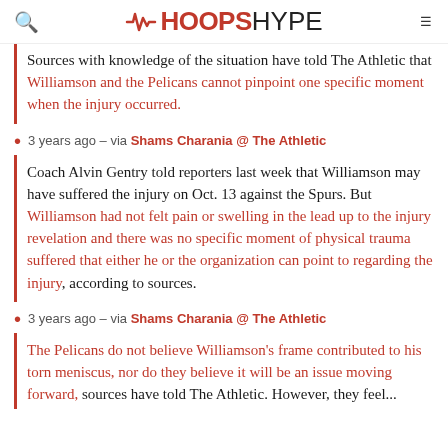HOOPSHYPE
Sources with knowledge of the situation have told The Athletic that Williamson and the Pelicans cannot pinpoint one specific moment when the injury occurred.
3 years ago – via Shams Charania @ The Athletic
Coach Alvin Gentry told reporters last week that Williamson may have suffered the injury on Oct. 13 against the Spurs. But Williamson had not felt pain or swelling in the lead up to the injury revelation and there was no specific moment of physical trauma suffered that either he or the organization can point to regarding the injury, according to sources.
3 years ago – via Shams Charania @ The Athletic
The Pelicans do not believe Williamson's frame contributed to his torn meniscus, nor do they believe it will be an issue moving forward, sources have told The Athletic. However, they feel...